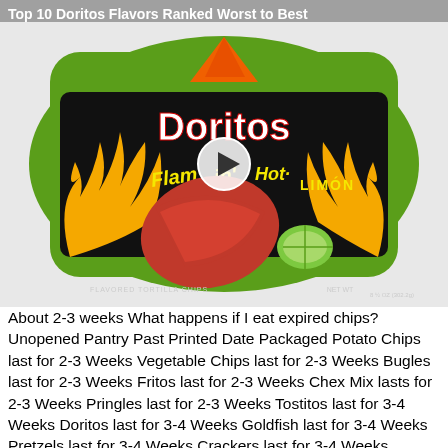Top 10 Doritos Flavors Ranked Worst to Best
[Figure (photo): Doritos Flamin' Hot Limón bag with flames, showing a tortilla chip and lime wedge, with a video play button overlay]
About 2-3 weeks What happens if I eat expired chips? Unopened Pantry Past Printed Date Packaged Potato Chips last for 2-3 Weeks Vegetable Chips last for 2-3 Weeks Bugles last for 2-3 Weeks Fritos last for 2-3 Weeks Chex Mix lasts for 2-3 Weeks Pringles last for 2-3 Weeks Tostitos last for 3-4 Weeks Doritos last for 3-4 Weeks Goldfish last for 3-4 Weeks Pretzels last for 3-4 Weeks Crackers last for 3-4 Weeks Opened Pantry Homemade Potato Chips last for 2-3 Days Packaged Potato Chips last for 5-7 Days Packaged Tortilla Chips last for 1-2 Weeks Crackers last for 2-4 Weeks Of course, potato chips last